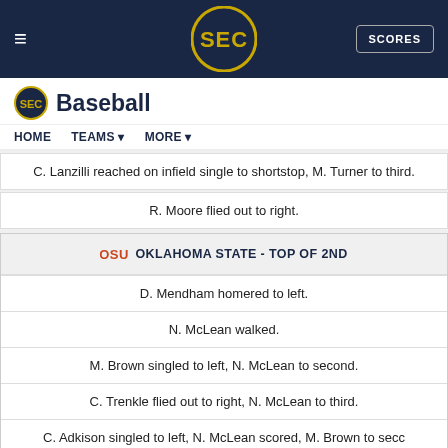≡  SEC  SCORES
SEC Baseball
HOME   TEAMS ▾   MORE ▾
C. Lanzilli reached on infield single to shortstop, M. Turner to third.
R. Moore flied out to right.
OKLAHOMA STATE - TOP OF 2ND
D. Mendham homered to left.
N. McLean walked.
M. Brown singled to left, N. McLean to second.
C. Trenkle flied out to right, N. McLean to third.
C. Adkison singled to left, N. McLean scored, M. Brown to secc
- P McEntire relieved pitcher.